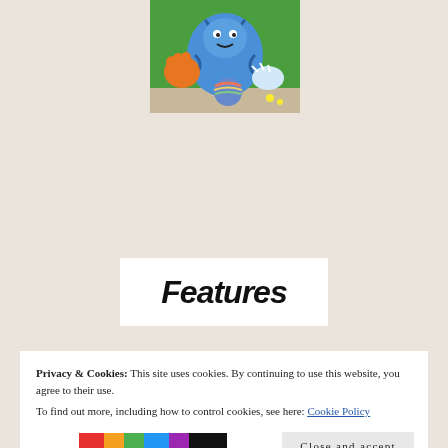[Figure (photo): Colorful street art mural showing a cartoon tiger or monster figure in blue with orange paws and a rainbow ball, on a green grass background]
Features
Privacy & Cookies: This site uses cookies. By continuing to use this website, you agree to their use.
To find out more, including how to control cookies, see here: Cookie Policy
Close and accept
[Figure (photo): Partial view of another colorful image at the bottom, appears to be a rainbow-colored figure or artwork]